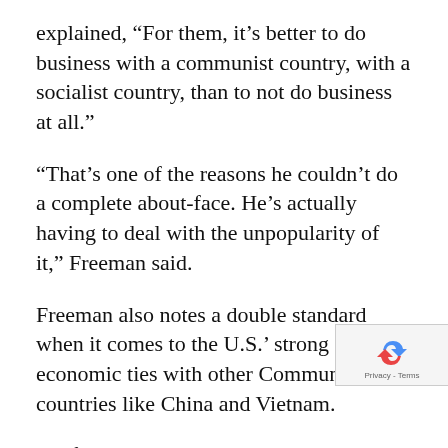explained, “For them, it’s better to do business with a communist country, with a socialist country, than to not do business at all.”
“That’s one of the reasons he couldn’t do a complete about-face. He’s actually having to deal with the unpopularity of it,” Freeman said.
Freeman also notes a double standard when it comes to the U.S.’ strong economic ties with other Communist countries like China and Vietnam.
So if there isn’t a true ideological divide, what’s compelling the need for a new Cuba policy?
Trump cited human rights abuses and political prisoners.
Though we can’t ignore accusations that Cuba has political prisoners, it’s important to note that...